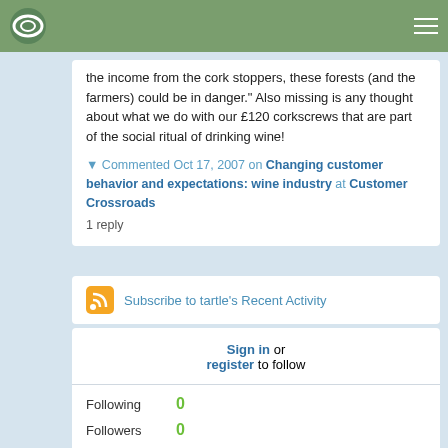the income from the cork stoppers, these forests (and the farmers) could be in danger." Also missing is any thought about what we do with our £120 corkscrews that are part of the social ritual of drinking wine!
▼ Commented Oct 17, 2007 on Changing customer behavior and expectations: wine industry at Customer Crossroads
1 reply
Subscribe to tartle's Recent Activity
Sign in or register to follow
Following 0
Followers 0
0 Favorites